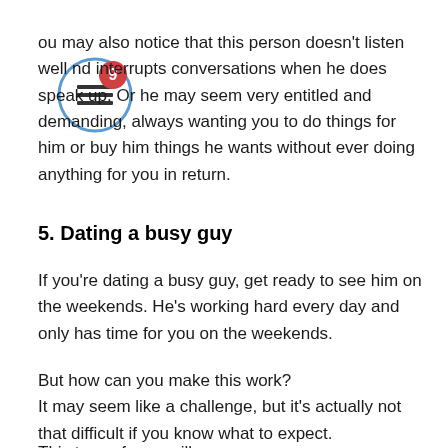ou may also notice that this person doesn't listen well nd interrupts conversations when he does speak up. Or he may seem very entitled and demanding, always wanting you to do things for him or buy him things he wants without ever doing anything for you in return.
5. Dating a busy guy
If you're dating a busy guy, get ready to see him on the weekends. He's working hard every day and only has time for you on the weekends.
But how can you make this work?
It may seem like a challenge, but it's actually not that difficult if you know what to expect.
This type of man will: